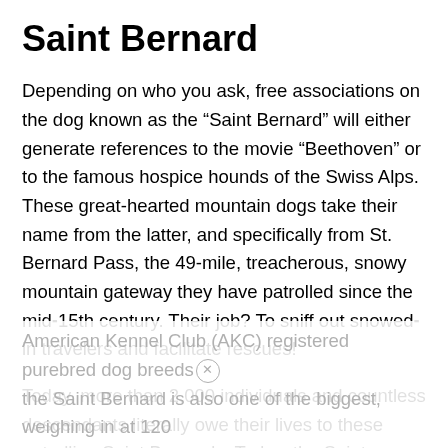Saint Bernard
Depending on who you ask, free associations on the dog known as the “Saint Bernard” will either generate references to the movie “Beethoven” or to the famous hospice hounds of the Swiss Alps. These great-hearted mountain dogs take their name from the latter, and specifically from St. Bernard Pass, the 49-mile, treacherous, snowy mountain gateway they have patrolled since the mid-15th century. Their job? To sniff out snowed-in travelers and facilitate rescues!
Today, more than 2,000 individuals and countless descendants literally owe their lives to these patrolling Saint Bernards. Today, the Saint Bernard is still one of the best-known and best-loved of all the mountain dog breeds. Currently, ranked 49th of 192
American Kennel Club (AKC) registered purebred dog breeds, the Saint Bernard is also one of the biggest, weighing in at 120